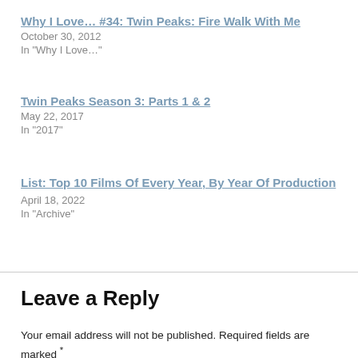Why I Love… #34: Twin Peaks: Fire Walk With Me
October 30, 2012
In "Why I Love…"
Twin Peaks Season 3: Parts 1 & 2
May 22, 2017
In "2017"
List: Top 10 Films Of Every Year, By Year Of Production
April 18, 2022
In "Archive"
Leave a Reply
Your email address will not be published. Required fields are marked *